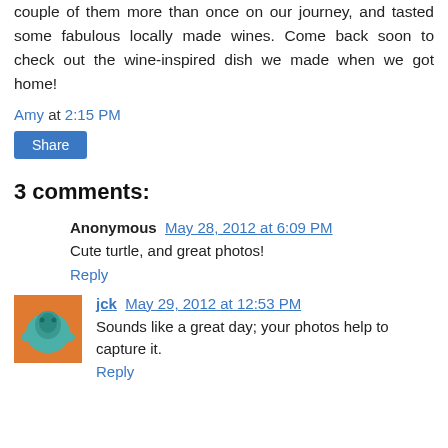couple of them more than once on our journey, and tasted some fabulous locally made wines. Come back soon to check out the wine-inspired dish we made when we got home!
Amy at 2:15 PM
Share
3 comments:
Anonymous May 28, 2012 at 6:09 PM
Cute turtle, and great photos!
Reply
jck May 29, 2012 at 12:53 PM
Sounds like a great day; your photos help to capture it.
Reply